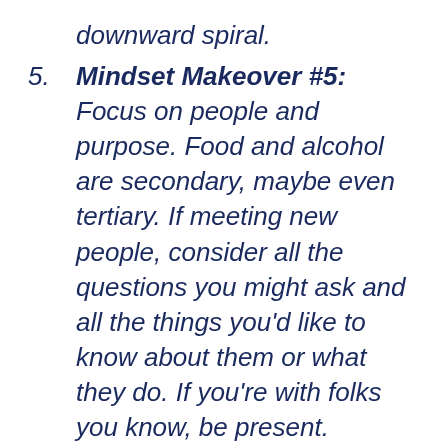downward spiral.
5. Mindset Makeover #5: Focus on people and purpose. Food and alcohol are secondary, maybe even tertiary. If meeting new people, consider all the questions you might ask and all the things you'd like to know about them or what they do. If you're with folks you know, be present. Imagine how special you can make others feel, and how